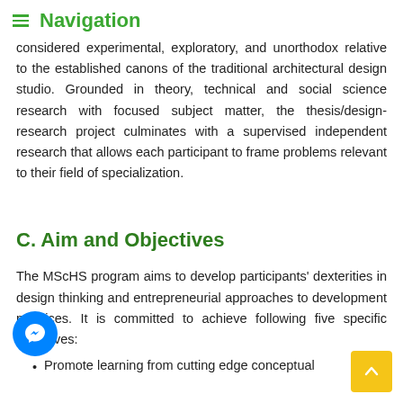≡ Navigation
considered experimental, exploratory, and unorthodox relative to the established canons of the traditional architectural design studio. Grounded in theory, technical and social science research with focused subject matter, the thesis/design-research project culminates with a supervised independent research that allows each participant to frame problems relevant to their field of specialization.
C. Aim and Objectives
The MScHS program aims to develop participants' dexterities in design thinking and entrepreneurial approaches to development practices. It is committed to achieve following five specific objectives:
Promote learning from cutting edge conceptual